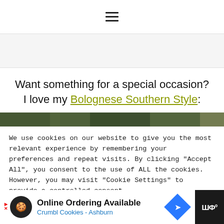☰
[Figure (other): Gray advertisement banner area]
Want something for a special occasion? I love my Bolognese Southern Style:
[Figure (photo): Partial image strip showing dark green/foliage background]
We use cookies on our website to give you the most relevant experience by remembering your preferences and repeat visits. By clicking "Accept All", you consent to the use of ALL the cookies. However, you may visit "Cookie Settings" to provide a controlled consent.
[Figure (other): Bottom advertisement banner: Online Ordering Available - Crumbl Cookies Ashburn]